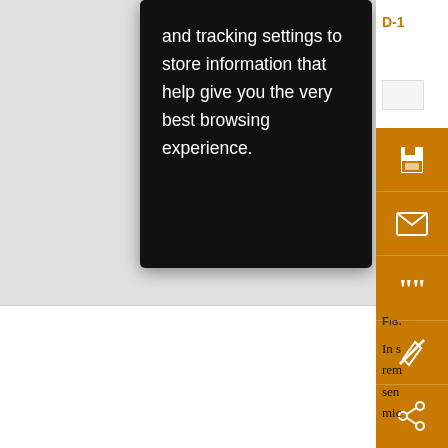[Figure (screenshot): Screenshot of a website with a black cookie/tracking consent tooltip popup overlaying content. The popup reads: 'and tracking settings to store information that help give you the very best browsing experience.' An orange sidebar on the right edge shows action icons: save, email, quote, annotate, share. A 'D-1' label appears in orange at top right. Below the fold is another white content section with partial text fragments.]
and tracking settings to store information that help give you the very best browsing experience.
FIG.
In s rem sen mic